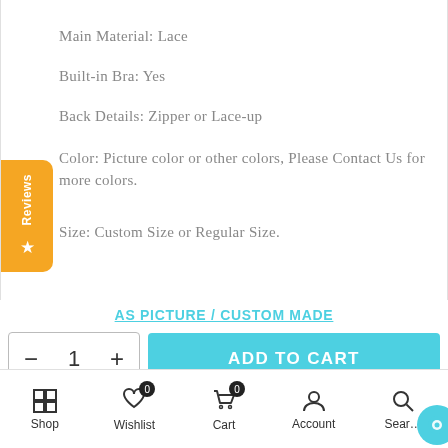Main Material: Lace
Built-in Bra: Yes
Back Details: Zipper or Lace-up
Color: Picture color or other colors, Please Contact Us for more colors.
Size: Custom Size or Regular Size.
⚙ For The length of the floor style, we need (Please refer
AS PICTURE / CUSTOM MADE
- 1 + ADD TO CART
Shop  Wishlist 0  Cart 0  Account  Search